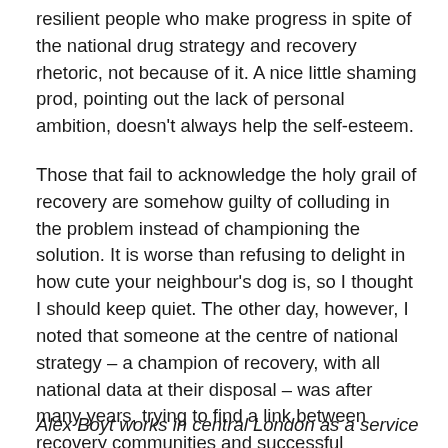resilient people who make progress in spite of the national drug strategy and recovery rhetoric, not because of it. A nice little shaming prod, pointing out the lack of personal ambition, doesn't always help the self-esteem.
Those that fail to acknowledge the holy grail of recovery are somehow guilty of colluding in the problem instead of championing the solution. It is worse than refusing to delight in how cute your neighbour's dog is, so I thought I should keep quiet. The other day, however, I noted that someone at the centre of national strategy – a champion of recovery, with all national data at their disposal – was after many years, trying to find a link between recovery communities and successful completions. I decided I ought to write something.
Alex Boyt works in central London as a service user